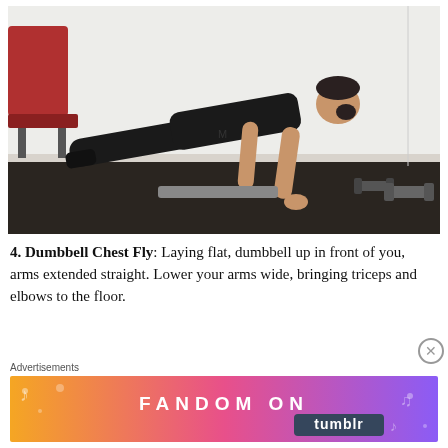[Figure (photo): A man in black clothing performing a plank/push-up position on a dark floor in a room with a red bench and dumbbells nearby.]
4. Dumbbell Chest Fly: Laying flat, dumbbell up in front of you, arms extended straight. Lower your arms wide, bringing triceps and elbows to the floor.
Advertisements
[Figure (infographic): Fandom on Tumblr advertisement banner with colorful gradient background (orange to purple) and music/fandom icons.]